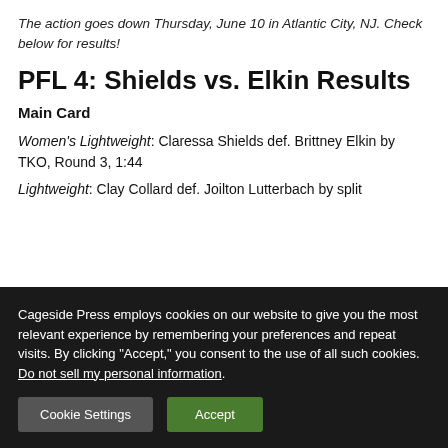The action goes down Thursday, June 10 in Atlantic City, NJ. Check below for results!
PFL 4: Shields vs. Elkin Results
Main Card
Women's Lightweight: Claressa Shields def. Brittney Elkin by TKO, Round 3, 1:44
Lightweight: Clay Collard def. Joilton Lutterbach by split
Cageside Press employs cookies on our website to give you the most relevant experience by remembering your preferences and repeat visits. By clicking “Accept,” you consent to the use of all such cookies. Do not sell my personal information.
Cookie Settings
Accept